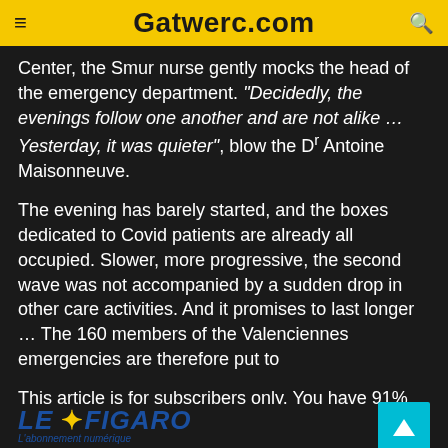Gatwerc.com
Center, the Smur nurse gently mocks the head of the emergency department. "Decidedly, the evenings follow one another and are not alike … Yesterday, it was quieter", blow the Dr Antoine Maisonneuve.
The evening has barely started, and the boxes dedicated to Covid patients are already all occupied. Slower, more progressive, the second wave was not accompanied by a sudden drop in other care activities. And it promises to last longer … The 160 members of the Valenciennes emergencies are therefore put to
This article is for subscribers only. You have 91% left to discover.
[Figure (logo): Le Figaro logo with yellow feather and blue text reading LE FIGARO, with subtitle L'abonnement numérique]